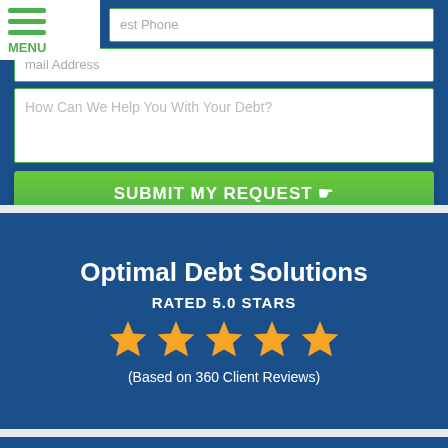[Figure (screenshot): Navigation menu with green hamburger lines and MENU label]
est Phone
mail Address
How Can We Help You With Your Debt?
SUBMIT MY REQUEST ☞
Optimal Debt Solutions
RATED 5.0 STARS
[Figure (illustration): Five gold star rating icons]
(Based on 360 Client Reviews)
Client Review